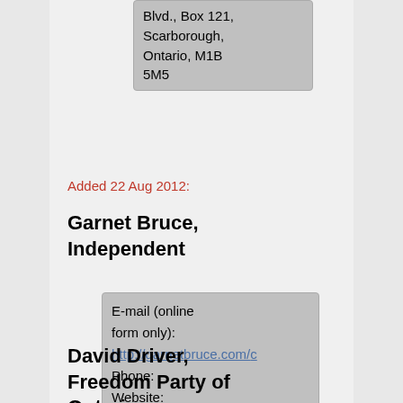Blvd., Box 121, Scarborough, Ontario, M1B 5M5
Added 22 Aug 2012:
Garnet Bruce, Independent
E-mail (online form only): http://garnetbruce.com/ Phone: Website: http://garnetbruce.com Twitter: Facebook: Postal address:
David Driver, Freedom Party of Ontario